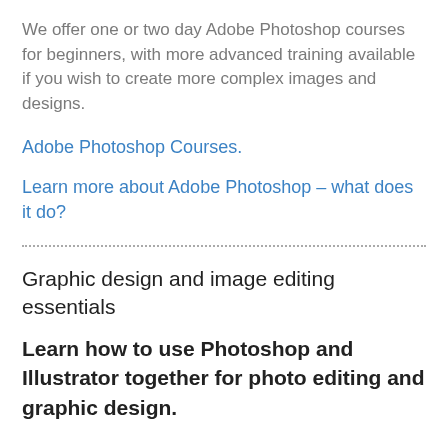We offer one or two day Adobe Photoshop courses for beginners, with more advanced training available if you wish to create more complex images and designs.
Adobe Photoshop Courses.
Learn more about Adobe Photoshop – what does it do?
Graphic design and image editing essentials
Learn how to use Photoshop and Illustrator together for photo editing and graphic design.